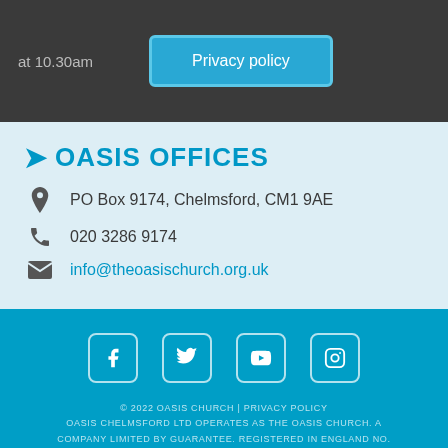at 10.30am
Privacy policy
OASIS OFFICES
PO Box 9174, Chelmsford, CM1 9AE
020 3286 9174
info@theoasischurch.org.uk
[Figure (infographic): Social media icons: Facebook, Twitter, YouTube, Instagram]
© 2022 OASIS CHURCH | PRIVACY POLICY OASIS CHELMSFORD LTD OPERATES AS THE OASIS CHURCH. A COMPANY LIMITED BY GUARANTEE. REGISTERED IN ENGLAND NO. 7685257. REGISTERED CHARITY NO. 1144804. WEBSITE BY SIMON PETHERICK GRAPHIC AND WEB DESIGN